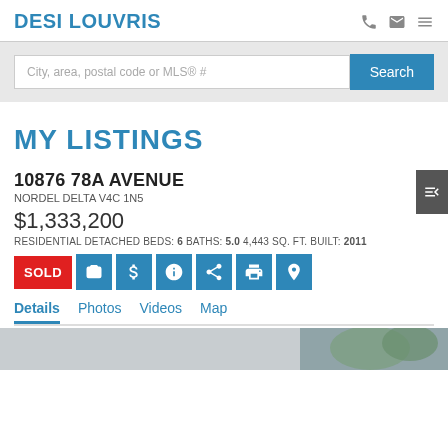DESI LOUVRIS
City, area, postal code or MLS® #
MY LISTINGS
10876 78A AVENUE
NORDEL DELTA V4C 1N5
$1,333,200
RESIDENTIAL DETACHED BEDS: 6 BATHS: 5.0 4,443 SQ. FT. BUILT: 2011
SOLD
Details  Photos  Videos  Map